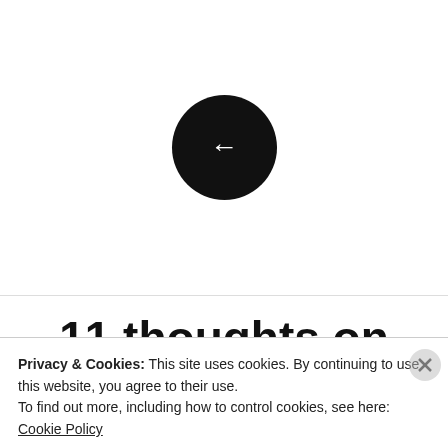[Figure (other): Black circular back navigation button with white left-pointing arrow]
11 thoughts on “The iPad Pro is hobbled by software, and why iOS 10 could knock it out
Privacy & Cookies: This site uses cookies. By continuing to use this website, you agree to their use.
To find out more, including how to control cookies, see here: Cookie Policy
Close and accept